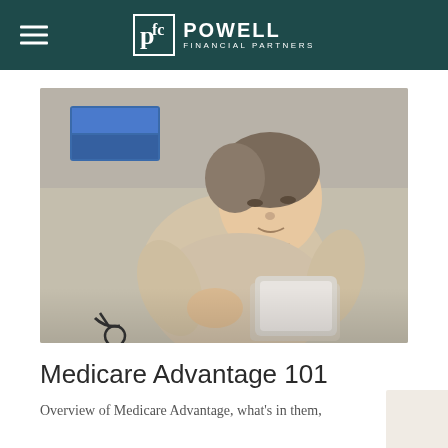POWELL FINANCIAL PARTNERS
[Figure (photo): Elderly Asian woman in wheelchair looking at a tablet device in what appears to be a medical or clinical setting, with a blue sign visible in the background.]
Medicare Advantage 101
Overview of Medicare Advantage, what's in them,